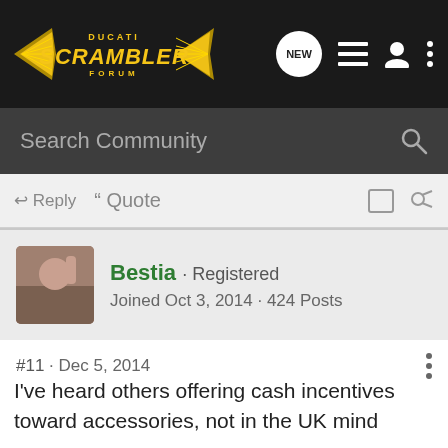[Figure (logo): Ducati Scrambler Forum logo with golden wings and text]
Search Community
Reply  Quote
Bestia · Registered
Joined Oct 3, 2014 · 424 Posts
#11 · Dec 5, 2014
I've heard others offering cash incentives toward accessories, not in the UK mind you...
Reply  Quote